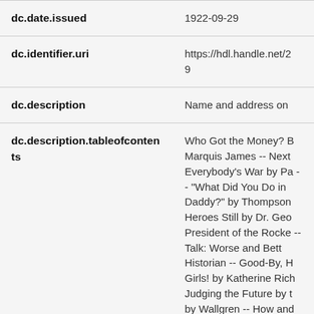| Field | Value |
| --- | --- |
| dc.date.issued | 1922-09-29 |
| dc.identifier.uri | https://hdl.handle.net/2
9 |
| dc.description | Name and address on |
| dc.description.tableofcontents | Who Got the Money? B Marquis James -- Next Everybody's War by Pa -- "What Did You Do in Daddy?" by Thompson Heroes Still by Dr. Geo President of the Rocke -- Talk: Worse and Bett Historian -- Good-By, H Girls! by Katherine Rich Judging the Future by t by Wallgren -- How and Built Her Own Mortal b |